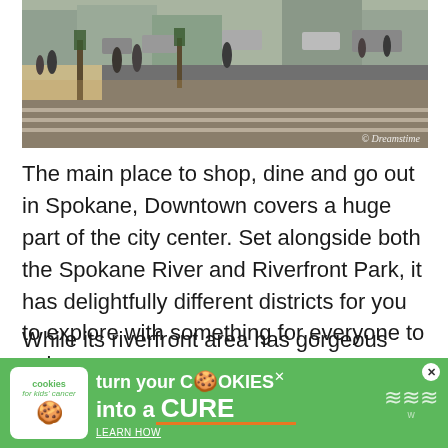[Figure (photo): Street scene in downtown Spokane showing pedestrians crossing a wide road with trees on the sidewalk, parked cars and moving traffic visible. © Dreamstime watermark in bottom right corner.]
The main place to shop, dine and go out in Spokane, Downtown covers a huge part of the city center. Set alongside both the Spokane River and Riverfront Park, it has delightfully different districts for you to explore with something for everyone to enjoy.
While its riverfront area has gorgeous nature and great outdoor activities, the downtown core of the city has countless shops and restaurants, as well as one of the largest skywalk systems in the States. Here you can find landmarks and attractive architecture, wi...
[Figure (other): Advertisement banner: cookies for kids cancer — turn your COOKIES into a CURE LEARN HOW]